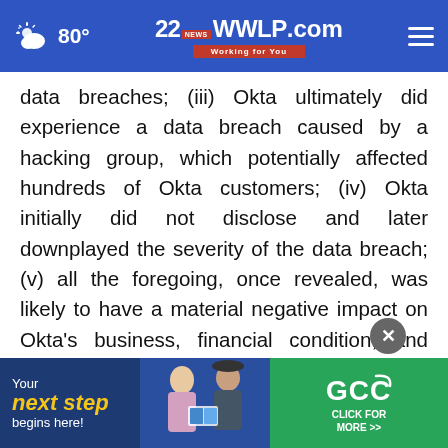80° | 22WWLP.com News Working for You
data breaches; (iii) Okta ultimately did experience a data breach caused by a hacking group, which potentially affected hundreds of Okta customers; (iv) Okta initially did not disclose and later downplayed the severity of the data breach; (v) all the foregoing, once revealed, was likely to have a material negative impact on Okta's business, financial condition, and reputation; and (vi) as a result, the Company's public statements were materially false
[Figure (infographic): Advertisement banner: 'Your next step begins here!' with GCC logo and 'Click for More' button]